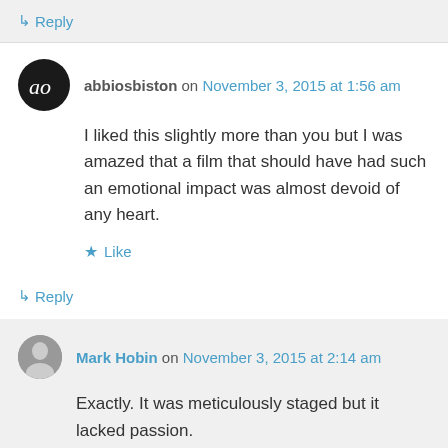↳ Reply
abbiosbiston on November 3, 2015 at 1:56 am
I liked this slightly more than you but I was amazed that a film that should have had such an emotional impact was almost devoid of any heart.
Like
↳ Reply
Mark Hobin on November 3, 2015 at 2:14 am
Exactly. It was meticulously staged but it lacked passion.